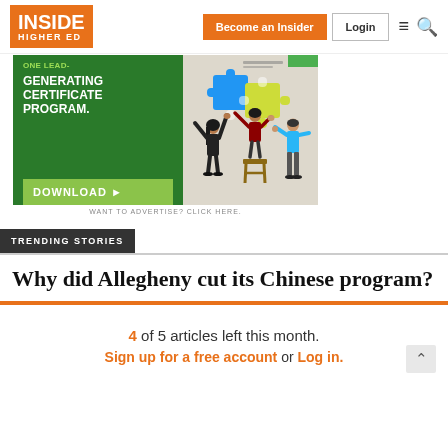INSIDE HIGHER ED — Become an Insider | Login
[Figure (illustration): Advertisement banner for a lead-generating certificate program with puzzle-piece graphic and people illustration. Text reads: ONE LEAD-GENERATING CERTIFICATE PROGRAM. DOWNLOAD.]
WANT TO ADVERTISE? CLICK HERE.
TRENDING STORIES
Why did Allegheny cut its Chinese program?
4 of 5 articles left this month. Sign up for a free account or Log in.